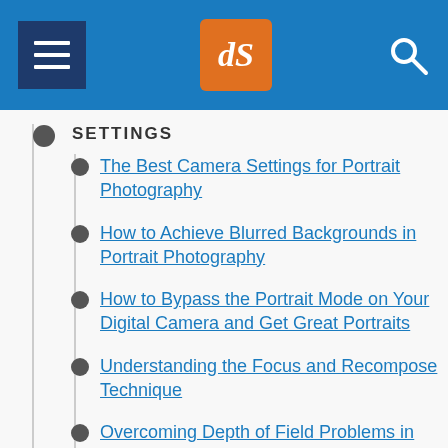dPS navigation header with menu, logo, and search
SETTINGS
The Best Camera Settings for Portrait Photography
How to Achieve Blurred Backgrounds in Portrait Photography
How to Bypass the Portrait Mode on Your Digital Camera and Get Great Portraits
Understanding the Focus and Recompose Technique
Overcoming Depth of Field Problems in Portraits
9 Ways to Ensure You Get Sharp Images When